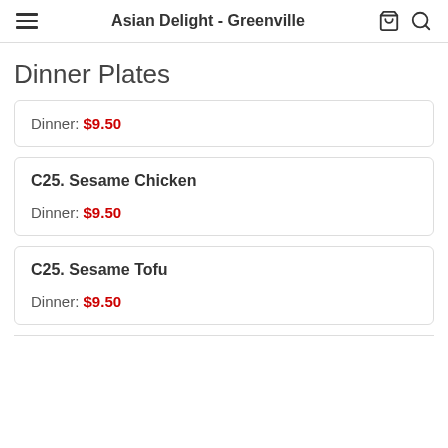Asian Delight - Greenville
Dinner Plates
Dinner: $9.50
C25. Sesame Chicken
Dinner: $9.50
C25. Sesame Tofu
Dinner: $9.50